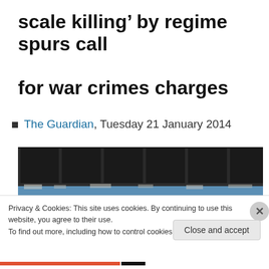scale killing’ by regime spurs call for war crimes charges
The Guardian, Tuesday 21 January 2014
[Figure (photo): Photograph of damaged building with broken windows and blue sill, partially visible under cookie consent overlay]
Privacy & Cookies: This site uses cookies. By continuing to use this website, you agree to their use.
To find out more, including how to control cookies, see here: Cookie Policy
Close and accept